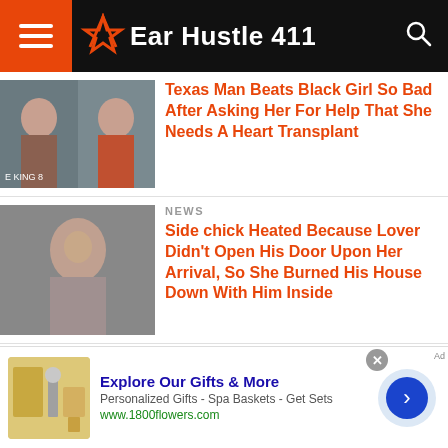Ear Hustle 411
Texas Man Beats Black Girl So Bad After Asking Her For Help That She Needs A Heart Transplant
NEWS
Side chick Heated Because Lover Didn't Open His Door Upon Her Arrival, So She Burned His House Down With Him Inside
BREAKING NEWS
Serial Child Molester Jeffrey Epstein Dead In Apparent Suicide Prior To His Trial
Explore Our Gifts & More
Personalized Gifts - Spa Baskets - Get Sets
www.1800flowers.com